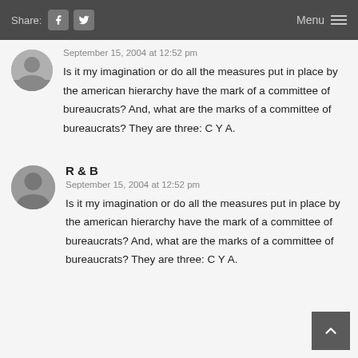Share: [facebook] [twitter]   Menu [≡]
September 15, 2004 at 12:52 pm
Is it my imagination or do all the measures put in place by the american hierarchy have the mark of a committee of bureaucrats?  And, what are the marks of a committee of bureaucrats?  They are three: C Y A.
R & B
September 15, 2004 at 12:52 pm
Is it my imagination or do all the measures put in place by the american hierarchy have the mark of a committee of bureaucrats?  And, what are the marks of a committee of bureaucrats?  They are three: C Y A.